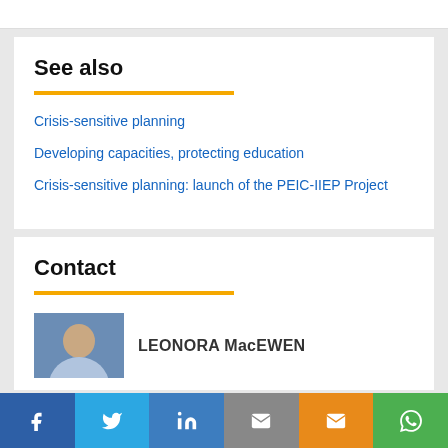See also
Crisis-sensitive planning
Developing capacities, protecting education
Crisis-sensitive planning: launch of the PEIC-IIEP Project
Contact
LEONORA MacEWEN